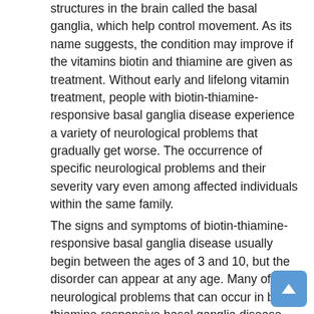structures in the brain called the basal ganglia, which help control movement. As its name suggests, the condition may improve if the vitamins biotin and thiamine are given as treatment. Without early and lifelong vitamin treatment, people with biotin-thiamine-responsive basal ganglia disease experience a variety of neurological problems that gradually get worse. The occurrence of specific neurological problems and their severity vary even among affected individuals within the same family.
The signs and symptoms of biotin-thiamine-responsive basal ganglia disease usually begin between the ages of 3 and 10, but the disorder can appear at any age. Many of the neurological problems that can occur in biotin-thiamine-responsive basal ganglia disease affect movement, and can include involuntary tensing of various muscles (dystonia), muscle rigidity, muscle weakness on one or both sides of the body (hemiparesis or quadriparesis), problems coordinating movements (ataxia), and exaggerated reflexes (hyperreflexia). Movement problems can also affect the face, and may include the inability to move facial muscles due to facial nerve